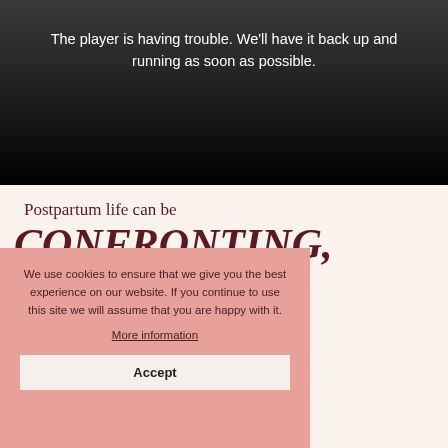The player is having trouble. We'll have it back up and running as soon as possible.
[Figure (screenshot): Dark gradient video player error screen]
Postpartum life can be
CONFRONTING, EMOTIONAL, & INTENSE.
We use cookies to ensure that we give you the best experience on our website. If you continue to use this site we will assume that you are happy with it.
More information
Accept